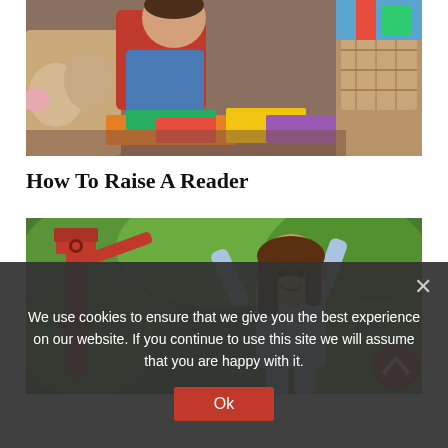[Figure (photo): A young toddler in a red turtleneck and blue denim overalls sitting on the floor surrounded by colorful picture books and stuffed animals and a wicker basket]
How To Raise A Reader
[Figure (photo): A young girl with arms raised joyfully outdoors near a large red metal pump and green trees]
We use cookies to ensure that we give you the best experience on our website. If you continue to use this site we will assume that you are happy with it.